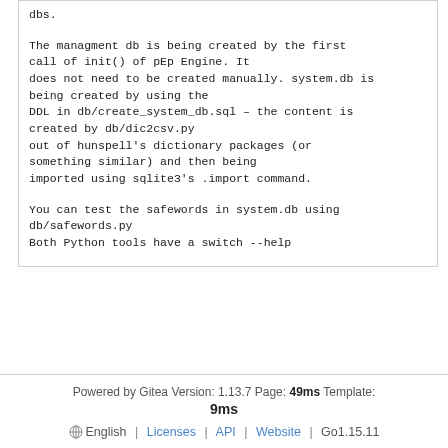dbs.

The managment db is being created by the first call of init() of pEp Engine. It does not need to be created manually. system.db is being created by using the DDL in db/create_system_db.sql – the content is created by db/dic2csv.py out of hunspell's dictionary packages (or something similar) and then being imported using sqlite3's .import command.

You can test the safewords in system.db using db/safewords.py
Both Python tools have a switch --help
Powered by Gitea Version: 1.13.7 Page: 49ms Template: 9ms English | Licenses | API | Website | Go1.15.11